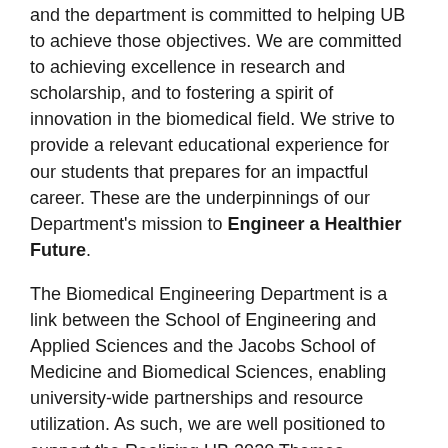and the department is committed to helping UB to achieve those objectives. We are committed to achieving excellence in research and scholarship, and to fostering a spirit of innovation in the biomedical field. We strive to provide a relevant educational experience for our students that prepares for an impactful career. These are the underpinnings of our Department's mission to Engineer a Healthier Future.
The Biomedical Engineering Department is a link between the School of Engineering and Applied Sciences and the Jacobs School of Medicine and Biomedical Sciences, enabling university-wide partnerships and resource utilization. As such, we are well positioned to support the Realizing UB 2020 Themes centered on Health and Innovation.
Health – At the heart of biomedical engineering is the goal to apply engineering problem solving skills to improve the health of humans. Our faculty are engaged in developing new approaches, devices and new knowledge that can be used to keep us healthier, to fight diseases, to better monitor the body, and to replicate and replace damaged organs. Our students are learning the fundamentals and applying this knowledge as part of their education, that prepares a large part of the class...